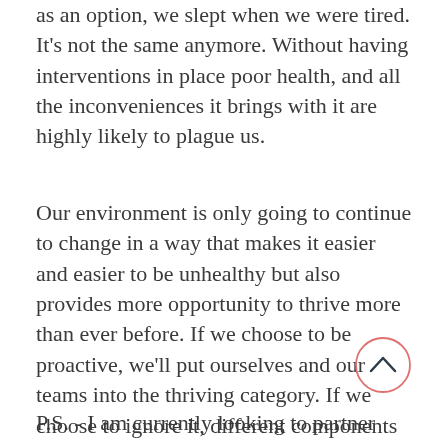as an option, we slept when we were tired. It's not the same anymore. Without having interventions in place poor health, and all the inconveniences it brings with it are highly likely to plague us.
Our environment is only going to continue to change in a way that makes it easier and easier to be unhealthy but also provides more opportunity to thrive more than ever before. If we choose to be proactive, we'll put ourselves and our teams into the thriving category. If we choose to ignore it, different components of poor health will plague us.
P.S. - I am currently looking to partner